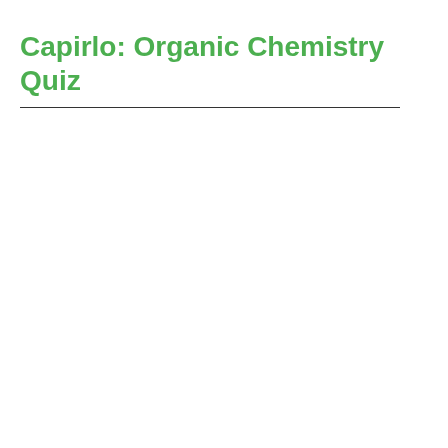Capirlo: Organic Chemistry Quiz